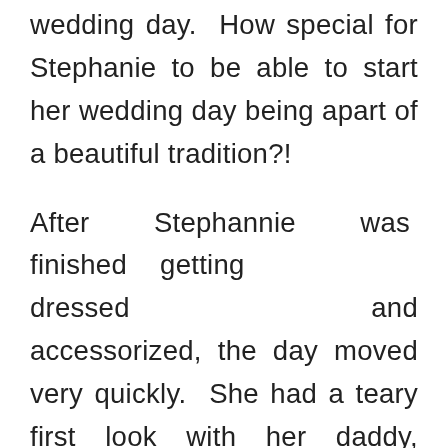wedding day. How special for Stephanie to be able to start her wedding day being apart of a beautiful tradition?!
After Stephannie was finished getting dressed and accessorized, the day moved very quickly. She had a teary first look with her daddy, exchanged gifts with parents and Nanny, and then we were off to Stan Hywet for her and David to exchange